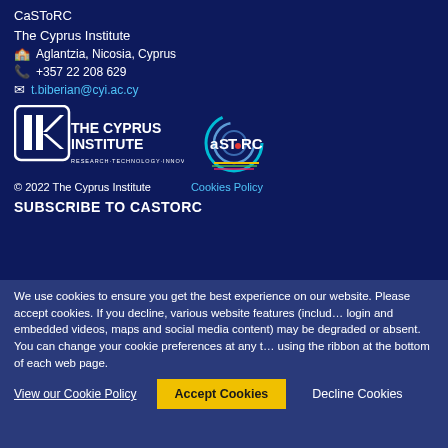CaSToRC
The Cyprus Institute
Aglantzia, Nicosia, Cyprus
+357 22 208 629
t.biberian@cyi.ac.cy
[Figure (logo): The Cyprus Institute and aSToRC logos side by side]
© 2022 The Cyprus Institute    Cookies Policy
SUBSCRIBE TO CASTORC
We use cookies to ensure you get the best experience on our website. Please accept cookies. If you decline, various website features (including login and embedded videos, maps and social media content) may be degraded or absent. You can change your cookie preferences at any time using the ribbon at the bottom of each web page.
View our Cookie Policy    Accept Cookies    Decline Cookies